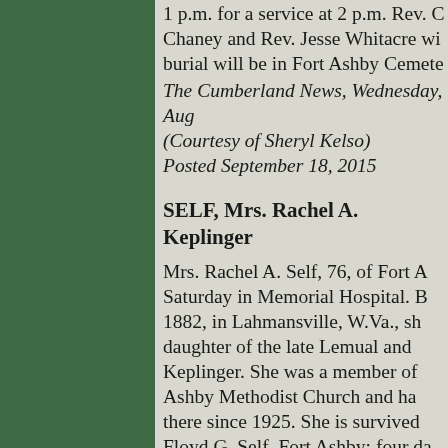1 p.m. for a service at 2 p.m. Rev. C Chaney and Rev. Jesse Whitacre wi burial will be in Fort Ashby Cemete
The Cumberland News, Wednesday, Aug (Courtesy of Sheryl Kelso) Posted September 18, 2015
SELF, Mrs. Rachel A. Keplinger
Mrs. Rachel A. Self, 76, of Fort A Saturday in Memorial Hospital. B 1882, in Lahmansville, W.Va., sh daughter of the late Lemual and Keplinger. She was a member of Ashby Methodist Church and ha there since 1925. She is survived Floyd G. Self, Fort Ashby; four da Virgie Shanholtz, Green Spring; Haines, Oakdale, Pa.; Mrs. Myra Bowling Green, and Mrs. Lucy A Ashby; a sister, Mrs. Edith J. Jud W.Va.; 11 grandchildren and foul children. The late Rev. Ch